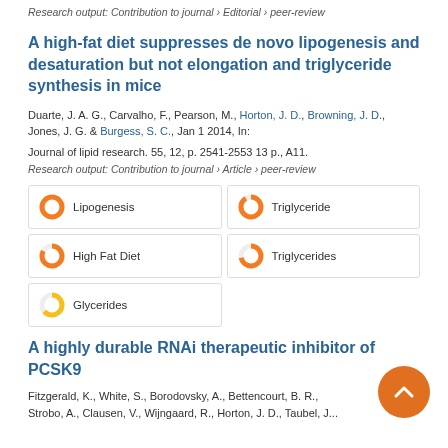Research output: Contribution to journal › Editorial › peer-review
A high-fat diet suppresses de novo lipogenesis and desaturation but not elongation and triglyceride synthesis in mice
Duarte, J. A. G., Carvalho, F., Pearson, M., Horton, J. D., Browning, J. D., Jones, J. G. & Burgess, S. C., Jan 1 2014, In: Journal of lipid research. 55, 12, p. 2541-2553 13 p., A11.
Research output: Contribution to journal › Article › peer-review
Lipogenesis
Triglyceride
High Fat Diet
Triglycerides
Glycerides
A highly durable RNAi therapeutic inhibitor of PCSK9
Fitzgerald, K., White, S., Borodovsky, A., Bettencourt, B. R., Strobo, A., Clausen, V., Wijngaard, R., Horton, J. D., Taubel, J...